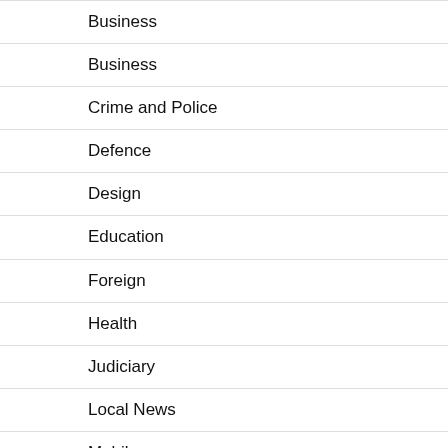Business
Business
Crime and Police
Defence
Design
Education
Foreign
Health
Judiciary
Local News
Mobile
News
News